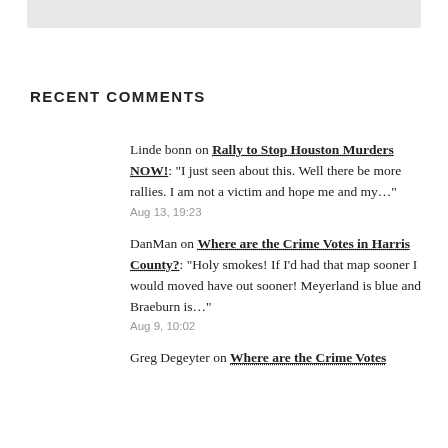RECENT COMMENTS
Linde bonn on Rally to Stop Houston Murders NOW!: "I just seen about this. Well there be more rallies. I am not a victim and hope me and my…" Aug 13, 19:23
DanMan on Where are the Crime Votes in Harris County?: "Holy smokes! If I'd had that map sooner I would moved have out sooner! Meyerland is blue and Braeburn is…" Aug 9, 10:02
Greg Degeyter on Where are the Crime Votes in Harris County?